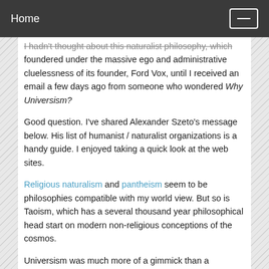Home
I hadn't thought about this naturalist philosophy, which foundered under the massive ego and administrative cluelessness of its founder, Ford Vox, until I received an email a few days ago from someone who wondered Why Universism?
Good question. I've shared Alexander Szeto's message below. His list of humanist / naturalist organizations is a handy guide. I enjoyed taking a quick look at the web sites.
Religious naturalism and pantheism seem to be philosophies compatible with my world view. But so is Taoism, which has a several thousand year philosophical head start on modern non-religious conceptions of the cosmos.
Universism was much more of a gimmick than a substantive evolution of naturalistic understanding. At first I liked the idea of people meeting locally under a non-dogmatic banner, discussing the big questions of life. It turned out, though, that it's tough to organize folks who